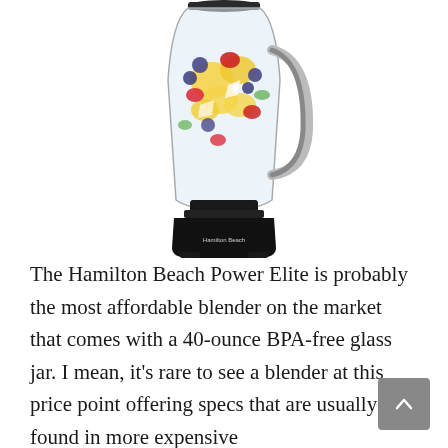[Figure (photo): Product photo of a Hamilton Beach Power Elite blender with a glass jar filled with colorful fruits (berries, pineapple), black and silver body with control buttons on the front.]
The Hamilton Beach Power Elite is probably the most affordable blender on the market that comes with a 40-ounce BPA-free glass jar. I mean, it’s rare to see a blender at this price point offering specs that are usually found in more expensive